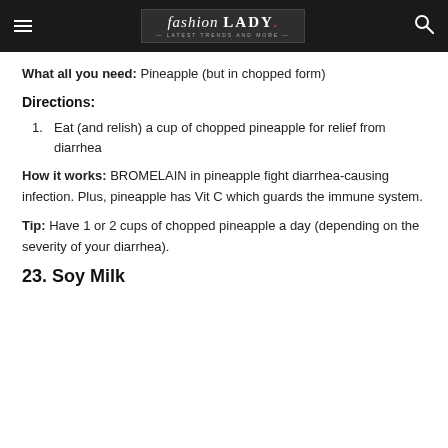fashion LADY — Latest Trends and More
What all you need: Pineapple (but in chopped form)
Directions:
Eat (and relish) a cup of chopped pineapple for relief from diarrhea
How it works: BROMELAIN in pineapple fight diarrhea-causing infection. Plus, pineapple has Vit C which guards the immune system.
Tip: Have 1 or 2 cups of chopped pineapple a day (depending on the severity of your diarrhea).
23. Soy Milk